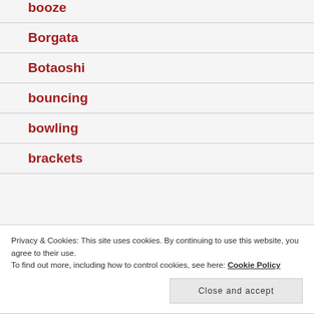booze
Borgata
Botaoshi
bouncing
bowling
brackets
Privacy & Cookies: This site uses cookies. By continuing to use this website, you agree to their use.
To find out more, including how to control cookies, see here: Cookie Policy
Close and accept